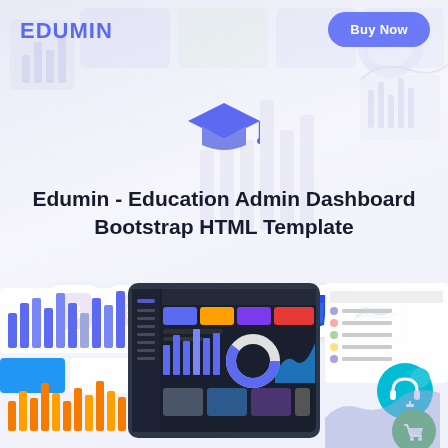EDUMIN
Buy Now
[Figure (illustration): Graduation cap icon in blue/purple color centered near top]
Edumin - Education Admin Dashboard Bootstrap HTML Template
[Figure (infographic): Row of 6 technology logos: Bootstrap, HTML5, Sass, Font Awesome/Fontello, CSS3, jQuery - each in a white rounded card]
[Figure (screenshot): Bottom composite showing dashboard UI screenshots: left side with bar charts and stat cards, center tablet showing full admin dashboard with colorful stat cards and donut chart, right side showing support profile cards with teal and green circular icons]